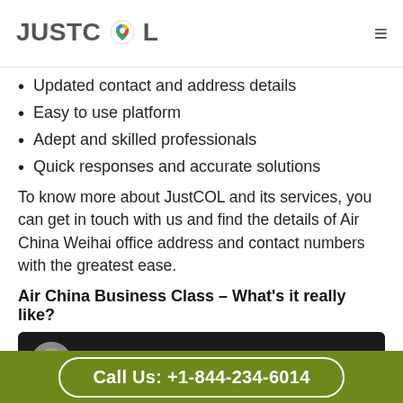JUSTCOL
Updated contact and address details
Easy to use platform
Adept and skilled professionals
Quick responses and accurate solutions
To know more about JustCOL and its services, you can get in touch with us and find the details of Air China Weihai office address and contact numbers with the greatest ease.
Air China Business Class – What's it really like?
[Figure (screenshot): YouTube video thumbnail showing 'Air China Business Class - What'... with a circular avatar of a man in red shirt on dark background]
Call Us: +1-844-234-6014